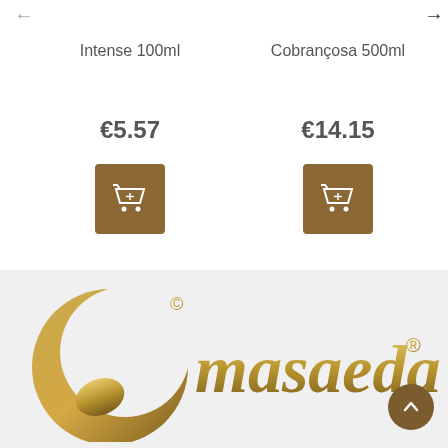Intense 100ml
€5.57
Cobrançosa 500ml
€14.15
[Figure (logo): Masaeda brand logo with golden crescent moon symbol and 'masaeda' text in gold gradient with registered trademark symbol]